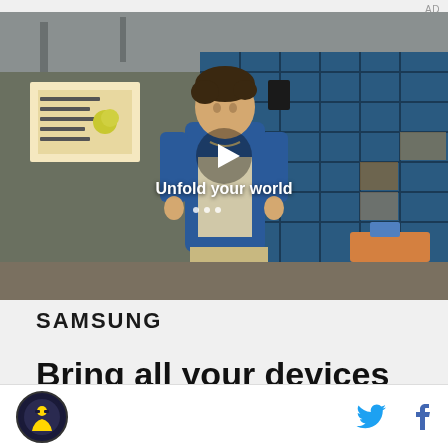AD
[Figure (screenshot): Samsung video ad screenshot showing a young man in a denim jacket walking through a school cafeteria with blue tile windows in the background. A play button is overlaid in the center with text 'Unfold your world'.]
SAMSUNG
Bring all your devices